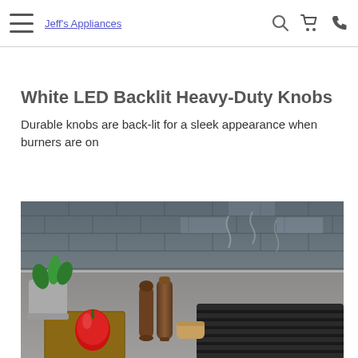Jeff's Appliances
White LED Backlit Heavy-Duty Knobs
Durable knobs are back-lit for a sleek appearance when burners are on
[Figure (photo): Kitchen countertop scene showing a gas range grill grate with cast iron grates, a red bell pepper on a cutting board, wooden salt/pepper mills, a potted herb plant, and a tile backsplash in the background.]